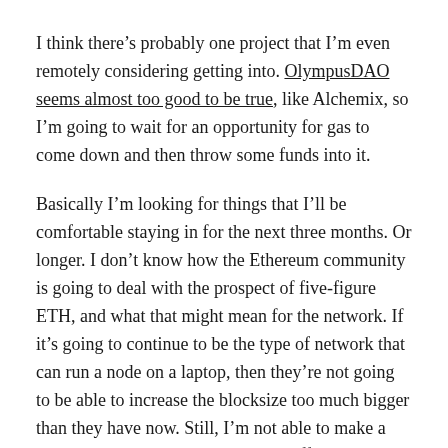I think there's probably one project that I'm even remotely considering getting into. OlympusDAO seems almost too good to be true, like Alchemix, so I'm going to wait for an opportunity for gas to come down and then throw some funds into it.
Basically I'm looking for things that I'll be comfortable staying in for the next three months. Or longer. I don't know how the Ethereum community is going to deal with the prospect of five-figure ETH, and what that might mean for the network. If it's going to continue to be the type of network that can run a node on a laptop, then they're not going to be able to increase the blocksize too much bigger than they have now. Still, I'm not able to make a prediction as to what the long term effects on gas is going to be. Optimism and the upcoming EIP may reduce short-term gas issues, but if ETH continues to